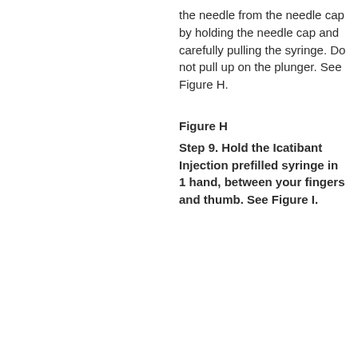the needle from the needle cap by holding the needle cap and carefully pulling the syringe. Do not pull up on the plunger. See Figure H.
Figure H
Step 9. Hold the Icatibant Injection prefilled syringe in 1 hand, between your fingers and thumb. See Figure I.